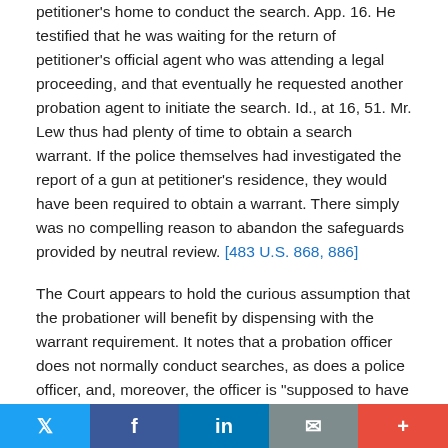petitioner's home to conduct the search. App. 16. He testified that he was waiting for the return of petitioner's official agent who was attending a legal proceeding, and that eventually he requested another probation agent to initiate the search. Id., at 16, 51. Mr. Lew thus had plenty of time to obtain a search warrant. If the police themselves had investigated the report of a gun at petitioner's residence, they would have been required to obtain a warrant. There simply was no compelling reason to abandon the safeguards provided by neutral review. [483 U.S. 868, 886]
The Court appears to hold the curious assumption that the probationer will benefit by dispensing with the warrant requirement. It notes that a probation officer does not normally conduct searches, as does a police officer, and, moreover, the officer is "supposed to have in mind the welfare of the probationer." Ante, at 876. The implication is
Twitter | Facebook | LinkedIn | Mail | More